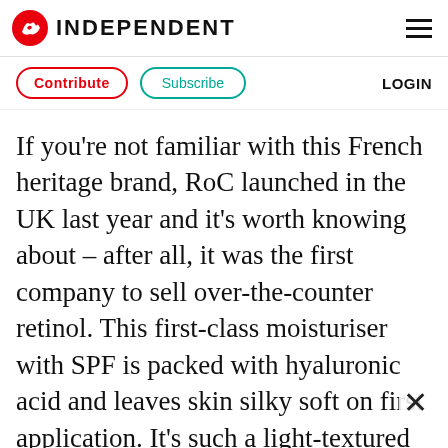INDEPENDENT
Contribute   Subscribe   LOGIN
If you’re not familiar with this French heritage brand, RoC launched in the UK last year and it’s worth knowing about – after all, it was the first company to sell over-the-counter retinol. This first-class moisturiser with SPF is packed with hyaluronic acid and leaves skin silky soft on first application. It’s such a light-textured gel-cream, with UVA/UVB filters, that it’s perfect for the spring/summer months ahead. We found it melts into the skin with zero whit… casts, and the brand promises it won’t show u…